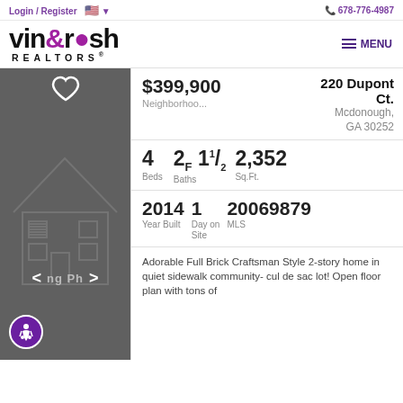Login / Register  🇺🇸 ▼   📞 678-776-4987
[Figure (logo): vin&rosh REALTORS logo with purple ampersand and dot]
≡ MENU
[Figure (photo): Dark gray photo panel showing outline of a house, with heart icon, navigation arrows, and accessibility button]
220 Dupont Ct. Mcdonough, GA 30252
$399,900
Neighborhoo...
4 Beds   2F 11/2 Baths   2,352 Sq.Ft.
2014 Year Built   1 Day on Site   20069879 MLS
Adorable Full Brick Craftsman Style 2-story home in quiet sidewalk community- cul de sac lot! Open floor plan with tons of